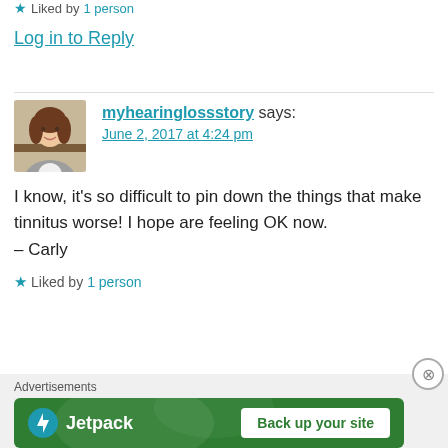Liked by 1 person
Log in to Reply
myhearinglossstory says:
June 2, 2017 at 4:24 pm
[Figure (photo): Profile photo of a woman with brown hair, smiling, wearing a grey cardigan]
I know, it's so difficult to pin down the things that make tinnitus worse! I hope are feeling OK now.
– Carly
Liked by 1 person
Advertisements
[Figure (infographic): Jetpack advertisement banner with logo and Back up your site button]